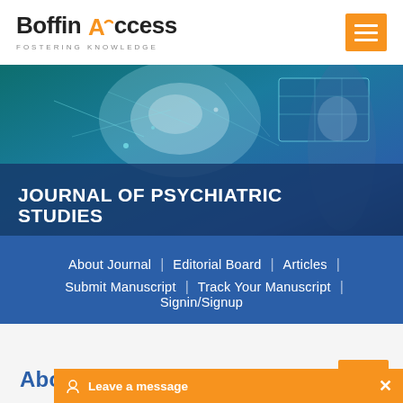[Figure (logo): Boffin Access logo with orange lock icon on the A, tagline FOSTERING KNOWLEDGE]
[Figure (photo): Hero banner showing a medical professional touching a digital brain interface screen with teal/blue tech overlay]
JOURNAL OF PSYCHIATRIC STUDIES
About Journal | Editorial Board | Articles | Submit Manuscript | Track Your Manuscript | Signin/Signup
About the Journal
Leave a message